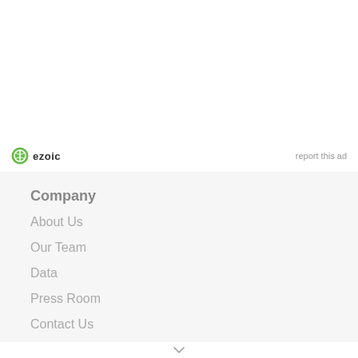[Figure (logo): Ezoic logo with green circular icon and bold 'ezoic' text]
report this ad
Company
About Us
Our Team
Data
Press Room
Contact Us